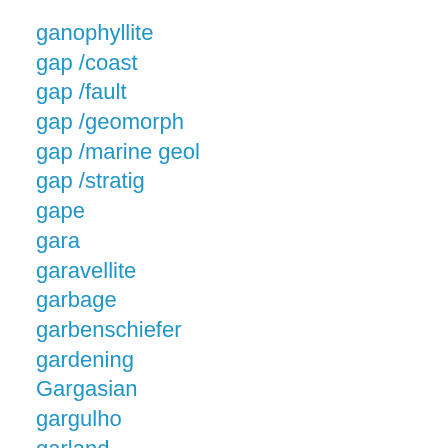ganophyllite
gap /coast
gap /fault
gap /geomorph
gap /marine geol
gap /stratig
gape
gara
garavellite
garbage
garbenschiefer
gardening
Gargasian
gargulho
garland